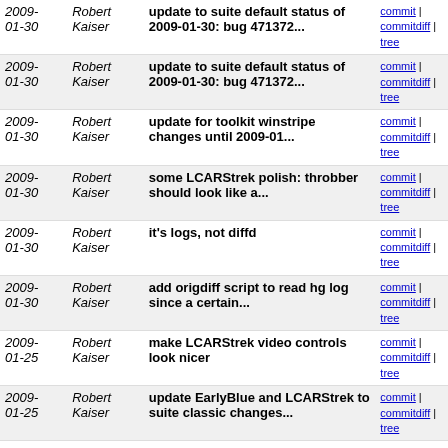| Date | Author | Message | Links |
| --- | --- | --- | --- |
| 2009-01-30 | Robert Kaiser | update to suite default status of 2009-01-30: bug 471372... | commit | commitdiff | tree |
| 2009-01-30 | Robert Kaiser | update to suite default status of 2009-01-30: bug 471372... | commit | commitdiff | tree |
| 2009-01-30 | Robert Kaiser | update for toolkit winstripe changes until 2009-01... | commit | commitdiff | tree |
| 2009-01-30 | Robert Kaiser | some LCARStrek polish: throbber should look like a... | commit | commitdiff | tree |
| 2009-01-30 | Robert Kaiser | it's logs, not diffd | commit | commitdiff | tree |
| 2009-01-30 | Robert Kaiser | add origdiff script to read hg log since a certain... | commit | commitdiff | tree |
| 2009-01-25 | Robert Kaiser | make LCARStrek video controls look nicer | commit | commitdiff | tree |
| 2009-01-25 | Robert Kaiser | update EarlyBlue and LCARStrek to suite classic changes... | commit | commitdiff | tree |
| 2009-01-25 | Robert Kaiser | update EarlyBlue and LCARStrek to 1.9.1 toolkit changes... | commit | commitdiff | tree |
| 2009-01-25 | Robert Kaiser | remove additional border on folderpane splitter that... | commit | commitdiff | tree |
| 2009-01-16 | Robert Kaiser | make tree focus ring not insert additional space around... | commit | commitdiff | tree |
| 2009-01-16 | Robert Kaiser | number boxes with hidden spinboxes have no riught border | commit | commitdiff | tree |
| 2008-12-29 | Robert Kaiser | update EarlyBlue and LCARStrek for suite classic changes... | commit | commitdiff | tree |
| 2008-... | Robert | update EarlyBlue and LCARStrek... | commit... |